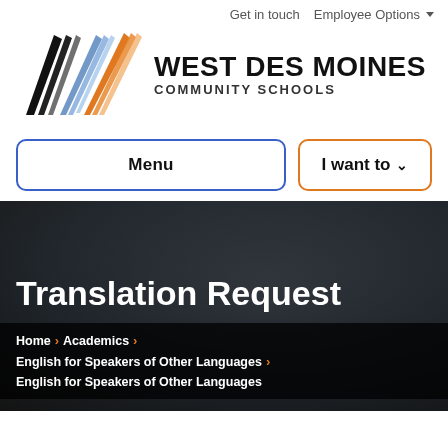Get in touch   Employee Options
[Figure (logo): West Des Moines Community Schools logo with stylized arrow/chevron design in black, blue, and orange]
WEST DES MOINES COMMUNITY SCHOOLS
Menu
I want to
Translation Request
Home > Academics > English for Speakers of Other Languages > English for Speakers of Other Languages